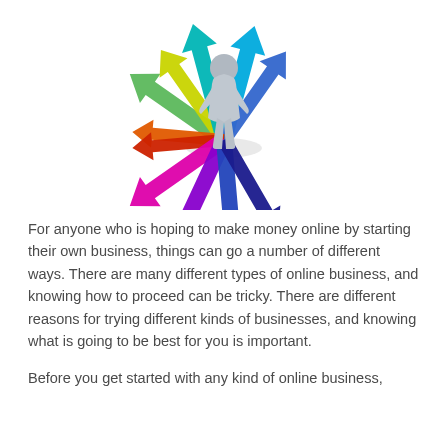[Figure (illustration): A 3D illustration of a grey human figure standing at the center of multiple colorful arrows radiating outward in all directions, representing choices or directions in business.]
For anyone who is hoping to make money online by starting their own business, things can go a number of different ways. There are many different types of online business, and knowing how to proceed can be tricky. There are different reasons for trying different kinds of businesses, and knowing what is going to be best for you is important.
Before you get started with any kind of online business,